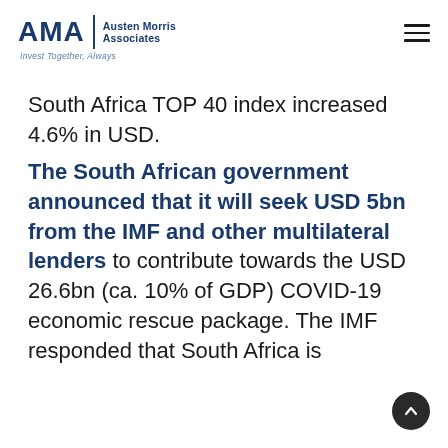AMA | Austen Morris Associates — Invest Together, Always
South Africa TOP 40 index increased 4.6% in USD. The South African government announced that it will seek USD 5bn from the IMF and other multilateral lenders to contribute towards the USD 26.6bn (ca. 10% of GDP) COVID-19 economic rescue package. The IMF responded that South Africa is eligible to apply for up to USD